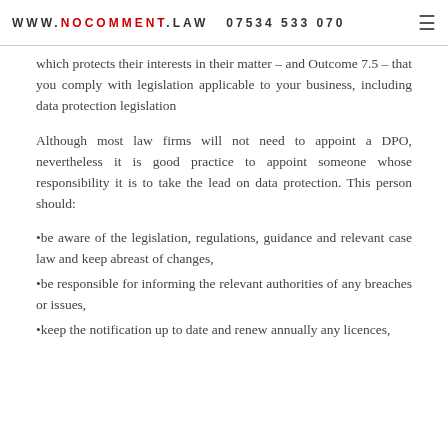WWW.NOCOMMENT.LAW   07534 533 070
which protects their interests in their matter – and Outcome 7.5 – that you comply with legislation applicable to your business, including data protection legislation
Although most law firms will not need to appoint a DPO, nevertheless it is good practice to appoint someone whose responsibility it is to take the lead on data protection. This person should:
•be aware of the legislation, regulations, guidance and relevant case law and keep abreast of changes,
•be responsible for informing the relevant authorities of any breaches or issues,
•keep the notification up to date and renew annually any licences,